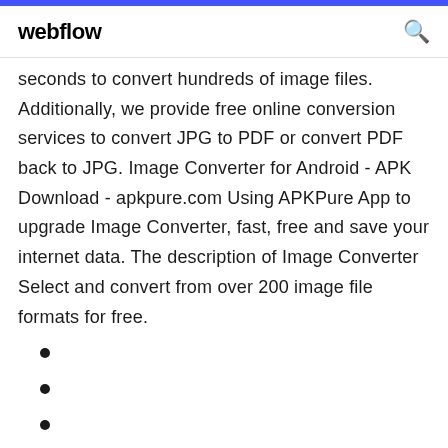webflow
seconds to convert hundreds of image files. Additionally, we provide free online conversion services to convert JPG to PDF or convert PDF back to JPG. Image Converter for Android - APK Download - apkpure.com Using APKPure App to upgrade Image Converter, fast, free and save your internet data. The description of Image Converter Select and convert from over 200 image file formats for free.